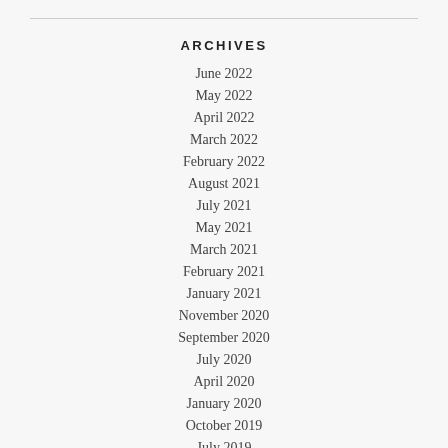ARCHIVES
June 2022
May 2022
April 2022
March 2022
February 2022
August 2021
July 2021
May 2021
March 2021
February 2021
January 2021
November 2020
September 2020
July 2020
April 2020
January 2020
October 2019
July 2019